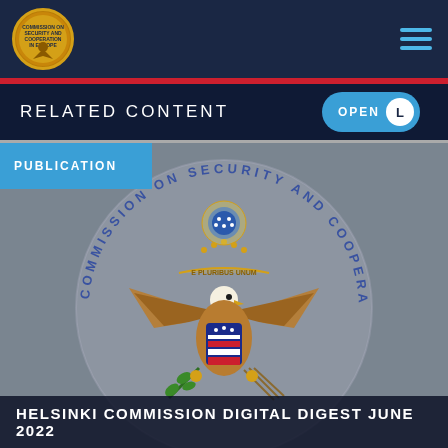[Figure (logo): Commission on Security and Cooperation in Europe circular seal/logo in the navigation bar top left]
RELATED CONTENT  OPEN
PUBLICATION
[Figure (illustration): Large US Government Commission on Security and Cooperation in Europe official seal as watermark/background image — bald eagle with E PLURIBUS UNUM banner, shield, olive branch and arrows, stars above, surrounded by circular text 'COMMISSION ON SECURITY AND COOPERATION IN EUROPE']
HELSINKI COMMISSION DIGITAL DIGEST JUNE 2022